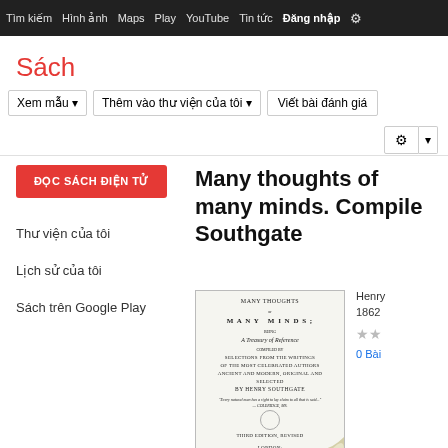Tìm kiếm  Hình ảnh  Maps  Play  YouTube  Tin tức  Đăng nhập  Cài đặt
Sách
Xem mẫu  Thêm vào thư viện của tôi  Viết bài đánh giá
ĐỌC SÁCH ĐIỆN TỬ
Thư viện của tôi
Lịch sử của tôi
Sách trên Google Play
Many thoughts of many minds. Compiled by Southgate
[Figure (photo): Book cover thumbnail showing title page of 'Many Thoughts of Many Minds; A Treasury of Reference' compiled by Henry Southgate, published London by Griffon, Bohn and Company, 1862]
Henry Southgate
1862
★★
0 Bài đánh giá